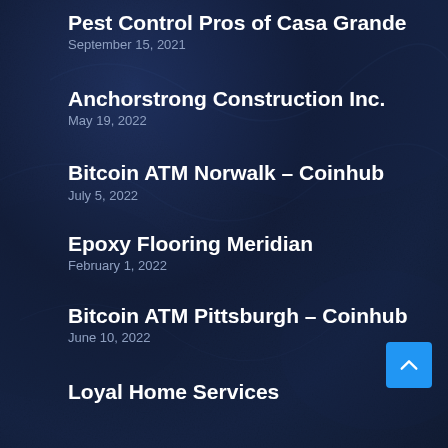Pest Control Pros of Casa Grande
September 15, 2021
Anchorstrong Construction Inc.
May 19, 2022
Bitcoin ATM Norwalk – Coinhub
July 5, 2022
Epoxy Flooring Meridian
February 1, 2022
Bitcoin ATM Pittsburgh – Coinhub
June 10, 2022
Loyal Home Services